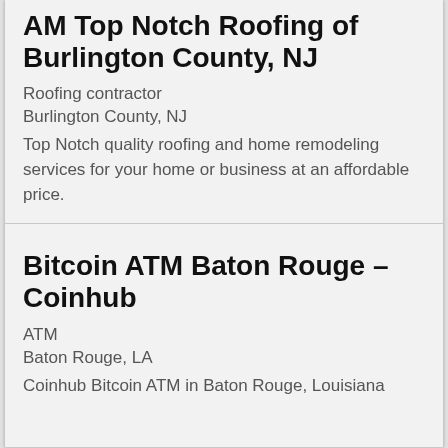AM Top Notch Roofing of Burlington County, NJ
Roofing contractor
Burlington County, NJ
Top Notch quality roofing and home remodeling services for your home or business at an affordable price.
Bitcoin ATM Baton Rouge – Coinhub
ATM
Baton Rouge, LA
Coinhub Bitcoin ATM in Baton Rouge, Louisiana